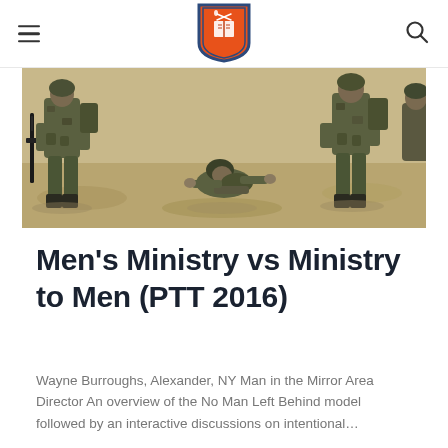Men's Ministry vs Ministry to Men (PTT 2016) — site header with logo, hamburger menu, and search icon
[Figure (photo): Military soldiers in combat gear and camouflage in a desert sandy environment, seen from above/waist level. One soldier appears to be down on the ground while others stand around.]
Men's Ministry vs Ministry to Men (PTT 2016)
Wayne Burroughs, Alexander, NY Man in the Mirror Area Director An overview of the No Man Left Behind model followed by an interactive discussions on intentional…